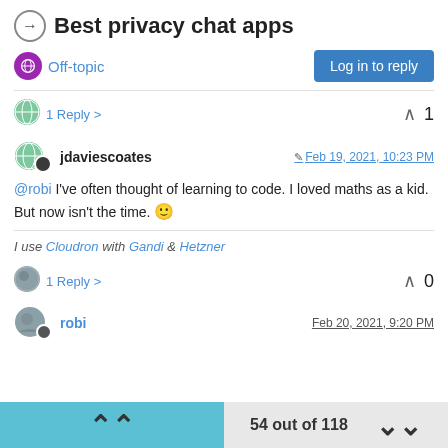Best privacy chat apps
Off-topic
Log in to reply
1 Reply >   ^ 1
jdaviescoates   Feb 19, 2021, 10:23 PM
@robi I've often thought of learning to code. I loved maths as a kid. But now isn't the time. 🙂
I use Cloudron with Gandi & Hetzner
1 Reply >   ^ 0
robi   Feb 20, 2021, 9:20 PM
54 out of 118